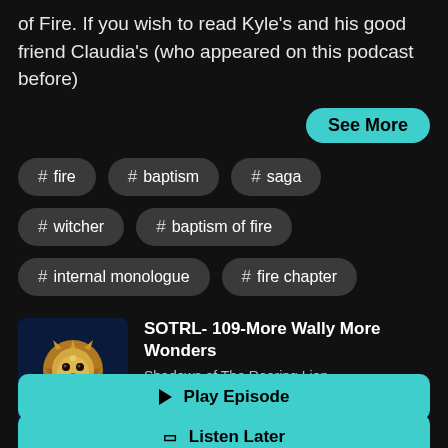of Fire. If you wish to read Kyle's and his good friend Claudia's (who appeared on this podcast before)
See More
# fire
# baptism
# saga
# witcher
# baptism of fire
# internal monologue
# fire chapter
[Figure (illustration): Gold lion logo on dark blue background for 'Shadows of The Roaring Lion' podcast]
SOTRL- 109-More Wally More Wonders
Shadows of The Roaring Lion
▶ Play Episode
🔖 Listen Later